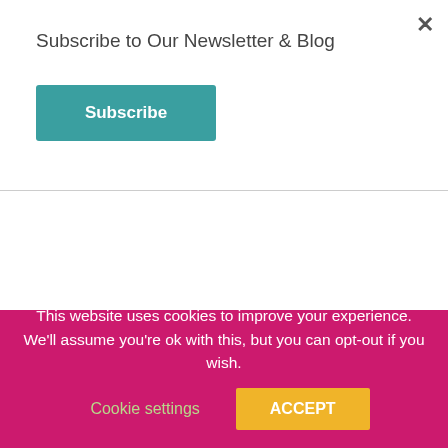Subscribe to Our Newsletter & Blog
Subscribe
website
business address (with Google Map)
In exchange for the Free Basic Business listing we require our clients to connect with us on all of our social media platforms. We also require clients to place a link-back on their website by way of our partnership badges. Our badges are simple to implement and offer a number of clear benefits including an endorsement, accreditation, social proof and validation of your business by Enfants
This website uses cookies to improve your experience. We'll assume you're ok with this, but you can opt-out if you wish.
Cookie settings
ACCEPT